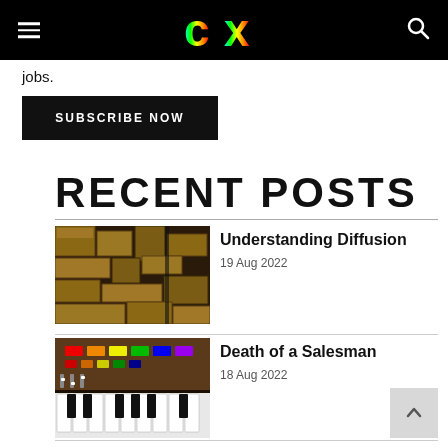CX (logo with hamburger menu and search icon)
jobs.
SUBSCRIBE NOW
RECENT POSTS
[Figure (photo): Stacked wooden boxes/acoustic diffuser panels on a wall]
Understanding Diffusion
19 Aug 2022
[Figure (photo): Vintage keyboard/synthesizer with colorful buttons and piano keys]
Death of a Salesman
18 Aug 2022
[Figure (photo): Partially visible third post image at bottom]